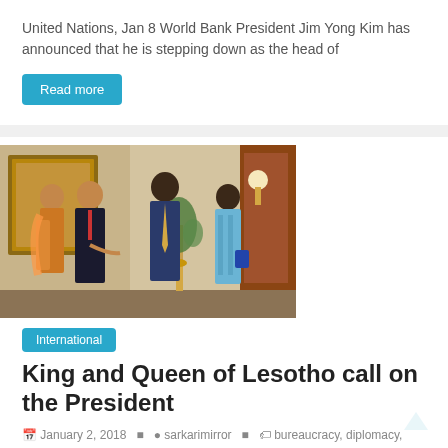United Nations, Jan 8 World Bank President Jim Yong Kim has announced that he is stepping down as the head of
Read more
[Figure (photo): Four people standing and conversing in a formal room: two women and two men, one in a dark suit (Indian man) and one tall man in a blue suit with gold tie, and a woman in a light blue patterned dress]
International
King and Queen of Lesotho call on the President
January 2, 2018   sarkarimirror   bureaucracy, diplomacy,